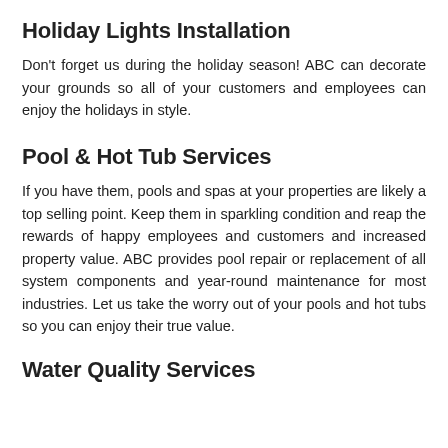Holiday Lights Installation
Don't forget us during the holiday season! ABC can decorate your grounds so all of your customers and employees can enjoy the holidays in style.
Pool & Hot Tub Services
If you have them, pools and spas at your properties are likely a top selling point. Keep them in sparkling condition and reap the rewards of happy employees and customers and increased property value. ABC provides pool repair or replacement of all system components and year-round maintenance for most industries. Let us take the worry out of your pools and hot tubs so you can enjoy their true value.
Water Quality Services